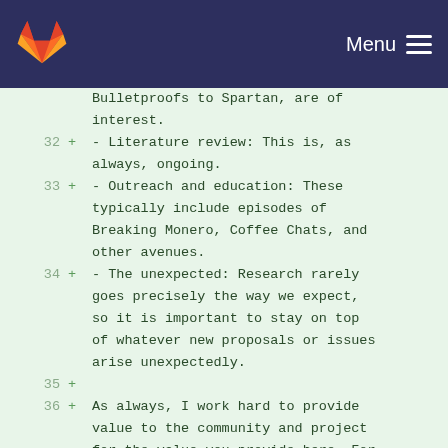Menu
Bulletproofs to Spartan, are of interest.
32 + - Literature review: This is, as always, ongoing.
33 + - Outreach and education: These typically include episodes of Breaking Monero, Coffee Chats, and other avenues.
34 + - The unexpected: Research rarely goes precisely the way we expect, so it is important to stay on top of whatever new proposals or issues arise unexpectedly.
35 +
36 + As always, I work hard to provide value to the community and project for the value you provide here. For the funding period beginning July 2019 and continuing through September 2019, my request